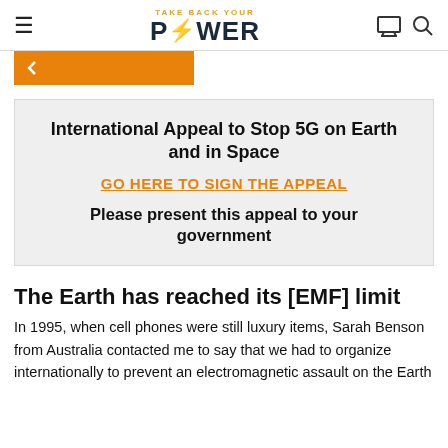TAKE BACK YOUR POWER
[Figure (other): Orange breadcrumb/navigation bar with a back arrow icon]
International Appeal to Stop 5G on Earth and in Space
GO HERE TO SIGN THE APPEAL
Please present this appeal to your government
The Earth has reached its [EMF] limit
In 1995, when cell phones were still luxury items, Sarah Benson from Australia contacted me to say that we had to organize internationally to prevent an electromagnetic assault on the Earth